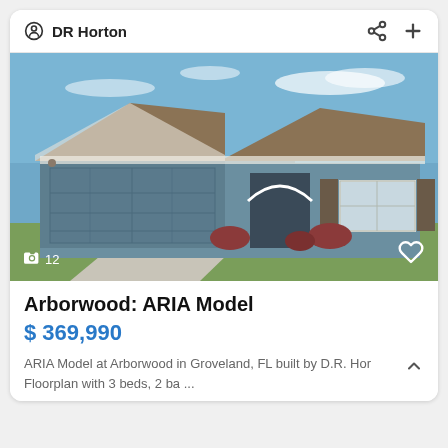DR Horton
[Figure (photo): Exterior photo of a single-story residential home with blue-gray stucco siding, a two-car garage, arched front entry, and brown shingle roof. Green lawn in front. Photo count overlay shows 12 photos.]
Arborwood: ARIA Model
$ 369,990
ARIA Model at Arborwood in Groveland, FL built by D.R. Hor  Floorplan with 3 beds, 2 ba ...